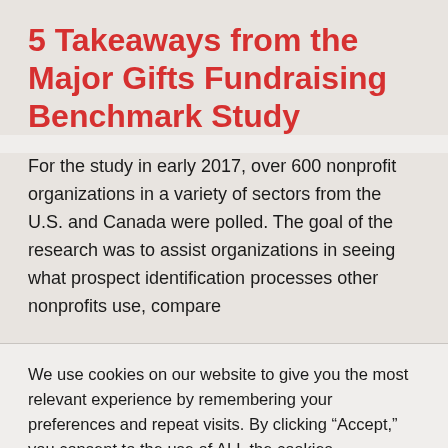5 Takeaways from the Major Gifts Fundraising Benchmark Study
For the study in early 2017, over 600 nonprofit organizations in a variety of sectors from the U.S. and Canada were polled. The goal of the research was to assist organizations in seeing what prospect identification processes other nonprofits use, compare
We use cookies on our website to give you the most relevant experience by remembering your preferences and repeat visits. By clicking “Accept,” you consent to the use of ALL the cookies.
Do not sell my personal information.
Cookie settings   Accept